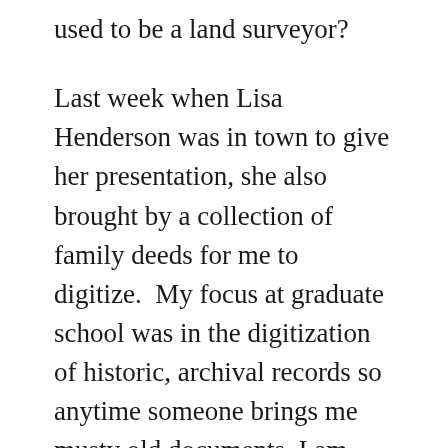used to be a land surveyor?
Last week when Lisa Henderson was in town to give her presentation, she also brought by a collection of family deeds for me to digitize.  My focus at graduate school was in the digitization of historic, archival records so anytime someone brings me musty old documents, I am very happy. These deeds are records that may not be in the state archives and if they are they are not easy to access. Very